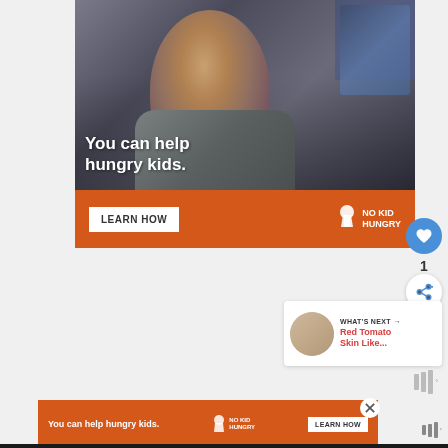[Figure (photo): Advertisement banner: Photo of a young boy in a classroom eating, with text 'You can help hungry kids.' overlaid. Below is an orange bar with a 'LEARN HOW' button and 'NO KID HUNGRY' logo.]
[Figure (screenshot): Social media UI elements: blue heart/like button with count '1', and a share button.]
WHAT'S NEXT → Red Tomato Skin Like...
[Figure (photo): Bottom advertisement banner: orange bar with text 'You can help hungry kids.' NO KID HUNGRY logo and 'LEARN HOW' button.]